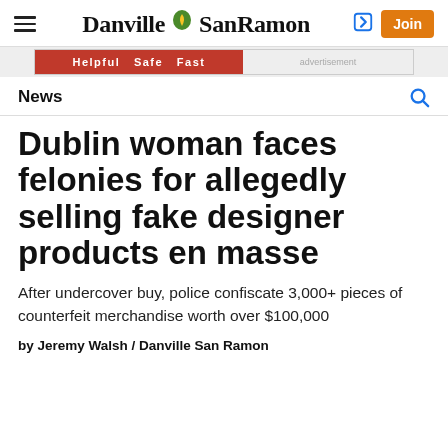Danville SanRamon — Join
[Figure (other): Advertisement banner: red bar with text 'Helpful Safe Fast']
News
Dublin woman faces felonies for allegedly selling fake designer products en masse
After undercover buy, police confiscate 3,000+ pieces of counterfeit merchandise worth over $100,000
by Jeremy Walsh / Danville San Ramon